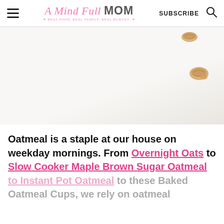A Mind Full Mom — REAL FOOD. REAL FAMILY. REAL BUDGET. | SUBSCRIBE | [search icon]
[Figure (photo): Close-up photo on white background showing scattered walnuts or oat clusters, minimalist food photography style.]
Oatmeal is a staple at our house on weekday mornings. From Overnight Oats to Slow Cooker Maple Brown Sugar Oatmeal to Instant Pot Oatmeal to these Baked Oatmeal Cups, we rely on oatmeal